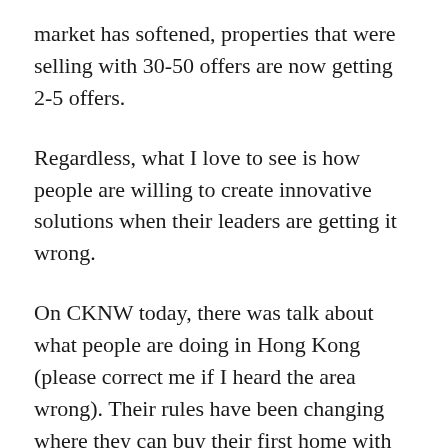market has softened, properties that were selling with 30-50 offers are now getting 2-5 offers.
Regardless, what I love to see is how people are willing to create innovative solutions when their leaders are getting it wrong.
On CKNW today, there was talk about what people are doing in Hong Kong (please correct me if I heard the area wrong). Their rules have been changing where they can buy their first home with as low as 10% down, but for a second or investment home they have to come up with 40% down (and they are looking at moving that to 60%).
So people are getting divorced, so they can buy an additional home, family or investment at 10%...